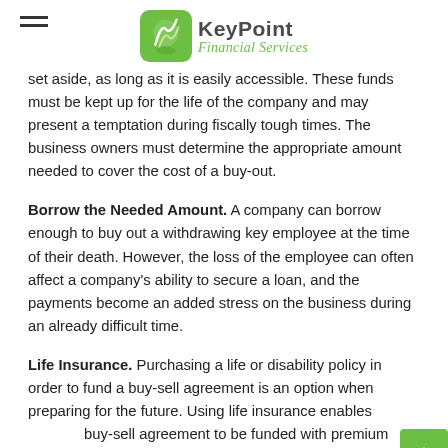KeyPoint Financial Services
set aside, as long as it is easily accessible. These funds must be kept up for the life of the company and may present a temptation during fiscally tough times. The business owners must determine the appropriate amount needed to cover the cost of a buy-out.
Borrow the Needed Amount. A company can borrow enough to buy out a withdrawing key employee at the time of their death. However, the loss of the employee can often affect a company's ability to secure a loan, and the payments become an added stress on the business during an already difficult time.
Life Insurance. Purchasing a life or disability policy in order to fund a buy-sell agreement is an option when preparing for the future. Using life insurance enables buy-sell agreement to be funded with premium payments rather than to ensure that funds will be available at...